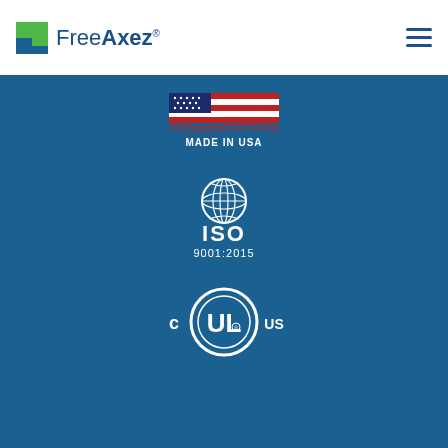[Figure (logo): FreeAxez logo with green/blue square icon and company name text]
[Figure (logo): Made in USA badge with American flag stripes]
[Figure (logo): ISO 9001:2015 certification logo with globe icon]
[Figure (logo): cULus certification mark - UL listed for Canada and USA]